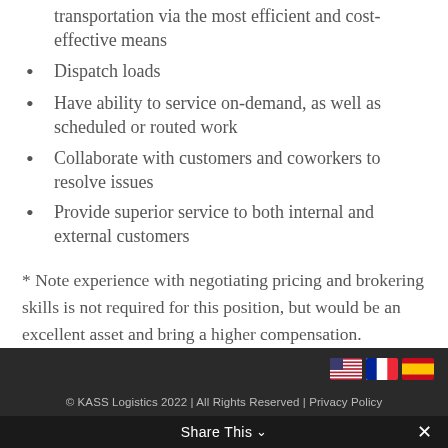transportation via the most efficient and cost-effective means
Dispatch loads
Have ability to service on-demand, as well as scheduled or routed work
Collaborate with customers and coworkers to resolve issues
Provide superior service to both internal and external customers
* Note experience with negotiating pricing and brokering skills is not required for this position, but would be an excellent asset and bring a higher compensation.
© KASS Logistics 2022 | All Rights Reserved | Privacy Policy
Share This ∨